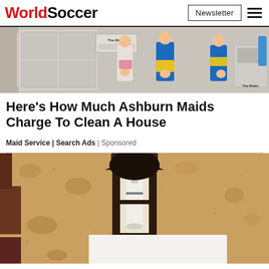WorldSoccer
[Figure (photo): Photo of maids/cleaning service workers in blue uniforms with cleaning equipment and The Maids branded items]
Here's How Much Ashburn Maids Charge To Clean A House
Maid Service | Search Ads | Sponsored
[Figure (photo): Photo of an outdoor wall-mounted lantern light fixture on a textured stone/stucco wall, with a white overlay box at the bottom]